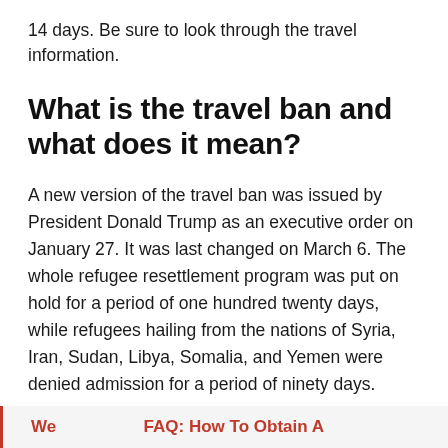14 days. Be sure to look through the travel information.
What is the travel ban and what does it mean?
A new version of the travel ban was issued by President Donald Trump as an executive order on January 27. It was last changed on March 6. The whole refugee resettlement program was put on hold for a period of one hundred twenty days, while refugees hailing from the nations of Syria, Iran, Sudan, Libya, Somalia, and Yemen were denied admission for a period of ninety days.
We ... FAQ: How To Obtain A ...